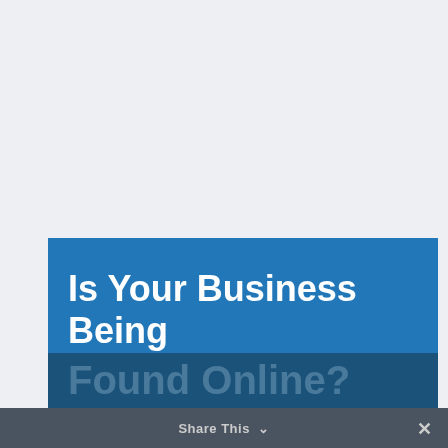[Figure (screenshot): Large light gray background area occupying the top two-thirds of the page]
Is Your Business Being Found Online?
Share This